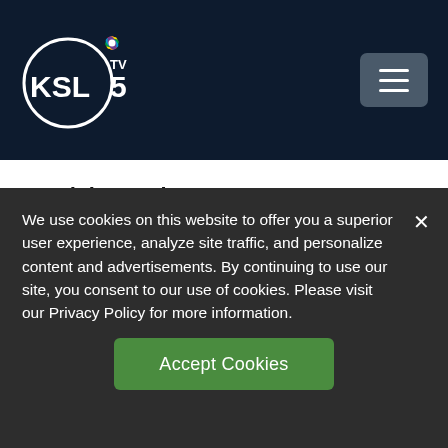[Figure (logo): KSL TV 5 NBC logo — white circle with KSL text and NBC peacock icon, on dark navy background with hamburger menu button]
At this point, Hunters Woods would be willing to allow you to vacate your unit early without penalty provided we execute an agreement stating the dates, terms, and conditions. This is not an open ended offer, nor is it an offer without conditions. If you
We use cookies on this website to offer you a superior user experience, analyze site traffic, and personalize content and advertisements. By continuing to use our site, you consent to our use of cookies. Please visit our Privacy Policy for more information.
Accept Cookies